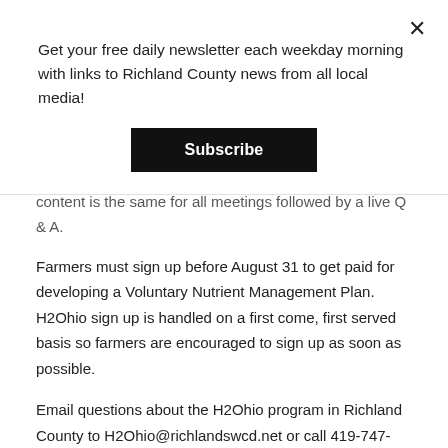Get your free daily newsletter each weekday morning with links to Richland County news from all local media!
Subscribe
content is the same for all meetings followed by a live Q & A.
Farmers must sign up before August 31 to get paid for developing a Voluntary Nutrient Management Plan. H2Ohio sign up is handled on a first come, first served basis so farmers are encouraged to sign up as soon as possible.
Email questions about the H2Ohio program in Richland County to H2Ohio@richlandswcd.net or call 419-747-8686.
Richland Soil and Water Conservation District